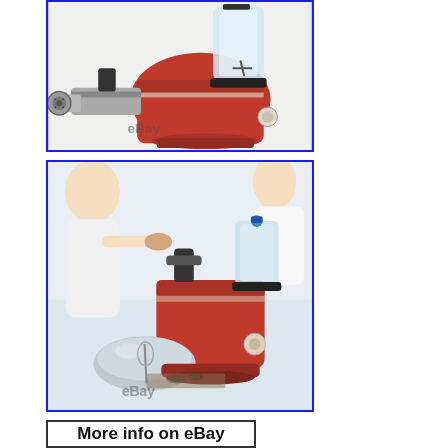[Figure (photo): Red kitchen stand mixer with metal meat grinder attachment on the left side and glass blender jar on top. eBay watermark visible. Blue border frame.]
[Figure (photo): Woman smiling using a red kitchen stand mixer with multiple attachments including meat grinder, blender jar, and mixing bowl. eBay watermark visible. Blue border frame.]
[Figure (other): Button/banner reading 'More info on eBay' with black border.]